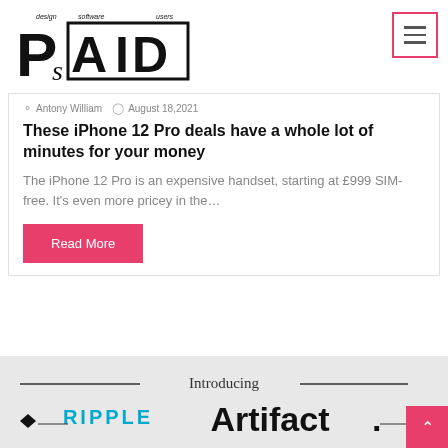PsAID - design software users
Antony William   August 18,2021
These iPhone 12 Pro deals have a whole lot of minutes for your money
The iPhone 12 Pro is an expensive handset, starting at £999 SIM-free. It's even more pricey in the...
Read More
[Figure (logo): Ripple Artifact introducing banner at bottom of page]